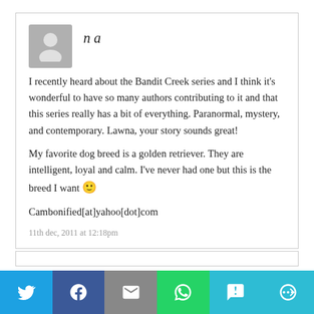na
I recently heard about the Bandit Creek series and I think it's wonderful to have so many authors contributing to it and that this series really has a bit of everything. Paranormal, mystery, and contemporary. Lawna, your story sounds great!

My favorite dog breed is a golden retriever. They are intelligent, loyal and calm. I've never had one but this is the breed I want 🙂

Cambonified[at]yahoo[dot]com
11th dec, 2011 at 12:18pm
[Figure (infographic): Social share bar with icons for Twitter, Facebook, Email, WhatsApp, SMS, and More]